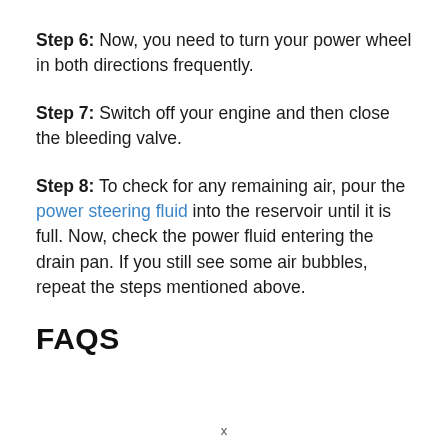Step 6: Now, you need to turn your power wheel in both directions frequently.
Step 7: Switch off your engine and then close the bleeding valve.
Step 8: To check for any remaining air, pour the power steering fluid into the reservoir until it is full. Now, check the power fluid entering the drain pan. If you still see some air bubbles, repeat the steps mentioned above.
FAQS